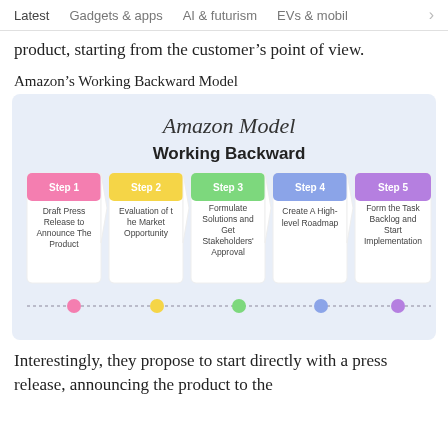Latest   Gadgets & apps   AI & futurism   EVs & mobil  >
product, starting from the customer's point of view.
Amazon's Working Backward Model
[Figure (flowchart): Amazon Model Working Backward infographic showing 5 steps in pentagon/chevron shapes on a light blue background. Step 1 (pink): Draft Press Release to Announce The Product. Step 2 (yellow): Evaluation of the Market Opportunity. Step 3 (green): Formulate Solutions and Get Stakeholders' Approval. Step 4 (blue): Create A High-level Roadmap. Step 5 (purple): Form the Task Backlog and Start Implementation. Below the steps is a dotted timeline with colored circles corresponding to each step.]
Interestingly, they propose to start directly with a press release, announcing the product to the